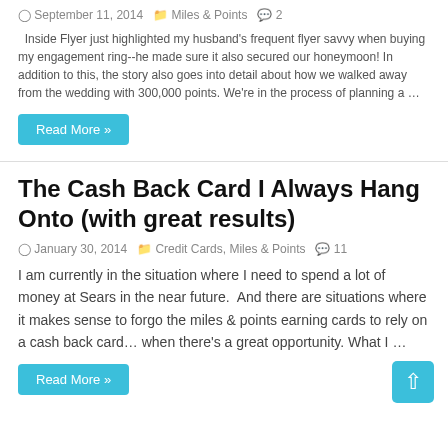September 11, 2014   Miles & Points   2
Inside Flyer just highlighted my husband's frequent flyer savvy when buying my engagement ring--he made sure it also secured our honeymoon! In addition to this, the story also goes into detail about how we walked away from the wedding with 300,000 points. We're in the process of planning a …
Read More »
The Cash Back Card I Always Hang Onto (with great results)
January 30, 2014   Credit Cards, Miles & Points   11
I am currently in the situation where I need to spend a lot of money at Sears in the near future.  And there are situations where it makes sense to forgo the miles & points earning cards to rely on a cash back card… when there's a great opportunity. What I …
Read More »